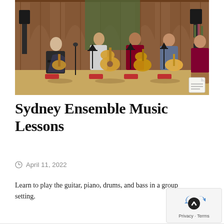[Figure (photo): Group of musicians playing guitars in a wood-panelled hall. Four seated musicians with guitars and one person seated on the right watching. Music stands in front of players, speaker stands visible, flowers on a table in background.]
Sydney Ensemble Music Lessons
April 11, 2022
Learn to play the guitar, piano, drums, and bass in a group setting.